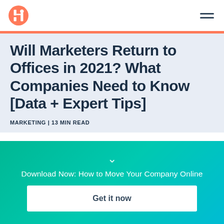HubSpot logo and navigation menu
Will Marketers Return to Offices in 2021? What Companies Need to Know [Data + Expert Tips]
MARKETING | 13 MIN READ
Download Now: How to Move Your Company Online
Get it now